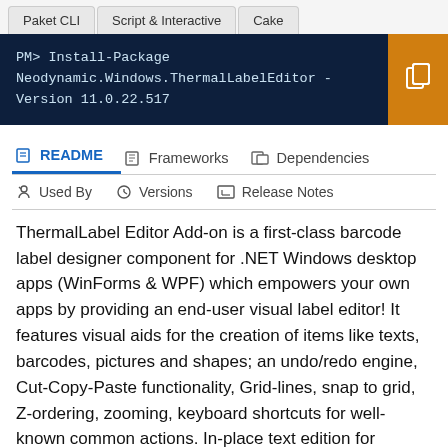Paket CLI	Script & Interactive	Cake
PM> Install-Package Neodynamic.Windows.ThermalLabelEditor -Version 11.0.22.517
README	Frameworks	Dependencies	Used By	Versions	Release Notes
ThermalLabel Editor Add-on is a first-class barcode label designer component for .NET Windows desktop apps (WinForms & WPF) which empowers your own apps by providing an end-user visual label editor! It features visual aids for the creation of items like texts, barcodes, pictures and shapes; an undo/redo engine, Cut-Copy-Paste functionality, Grid-lines, snap to grid, Z-ordering, zooming, keyboard shortcuts for well-known common actions. In-place text edition for TextItem...